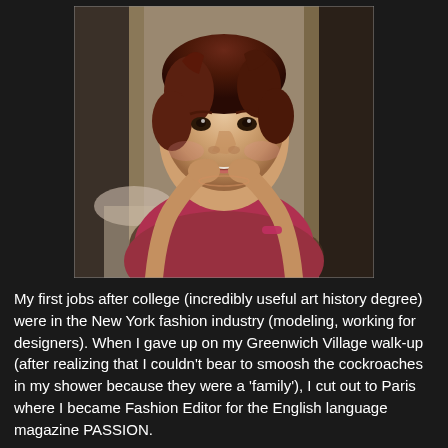[Figure (photo): Portrait photo of a woman with short dark hair, wearing a pink/red short-sleeve top, leaning forward with chin resting on her hands, smiling, seated at what appears to be an outdoor café or restaurant setting]
My first jobs after college (incredibly useful art history degree) were in the New York fashion industry (modeling, working for designers). When I gave up on my Greenwich Village walk-up (after realizing that I couldn't bear to smoosh the cockroaches in my shower because they were a 'family'), I cut out to Paris where I became Fashion Editor for the English language magazine PASSION.
I subsequently wrote and edited the gourmet destination guide LA BELLE FRANCE for fifteen years while freelancing for the NEW YORK TIMES Travel section, various in-flight